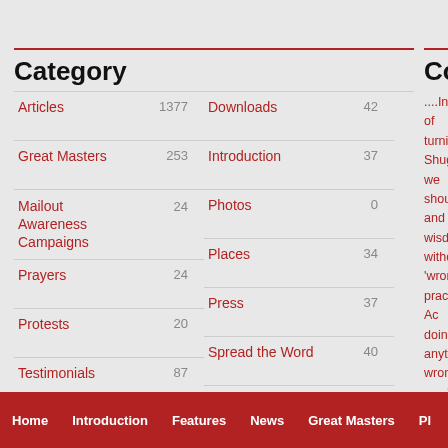Category
| Category | Count |
| --- | --- |
| Articles | 1377 |
| Great Masters | 253 |
| Mailout Awareness Campaigns | 24 |
| Prayers | 24 |
| Protests | 20 |
| Testimonials | 87 |
| Videos | 363 |
| Downloads | 42 |
| Introduction | 37 |
| Photos | 0 |
| Places | 34 |
| Press | 37 |
| Spread the Word | 40 |
| The Controversy | 547 |
Contemplate
....Instead of turning Shugden, we should and wisdom without 'wrong' practice. Ac doing anything wron wouldn't it be more b those who have view contemplate this. Th should forbear with keep your commitme predicted that Dorje quick benefits will b be a practice of man
Home   Introduction   Features   News   Great Masters   Pl